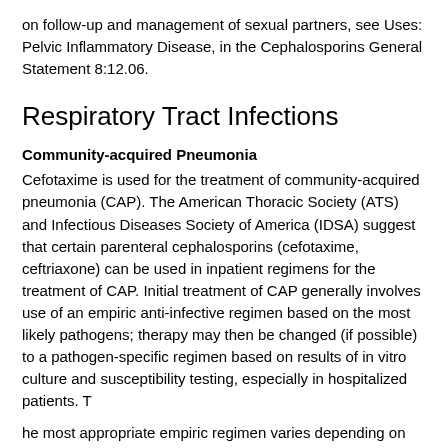on follow-up and management of sexual partners, see Uses: Pelvic Inflammatory Disease, in the Cephalosporins General Statement 8:12.06.
Respiratory Tract Infections
Community-acquired Pneumonia
Cefotaxime is used for the treatment of community-acquired pneumonia (CAP). The American Thoracic Society (ATS) and Infectious Diseases Society of America (IDSA) suggest that certain parenteral cephalosporins (cefotaxime, ceftriaxone) can be used in inpatient regimens for the treatment of CAP. Initial treatment of CAP generally involves use of an empiric anti-infective regimen based on the most likely pathogens; therapy may then be changed (if possible) to a pathogen-specific regimen based on results of in vitro culture and susceptibility testing, especially in hospitalized patients. T
he most appropriate empiric regimen varies depending on the severity of illness at the time of presentation and whether outpatient treatment or hospitalization in or out of an intensive care unit (ICU) is